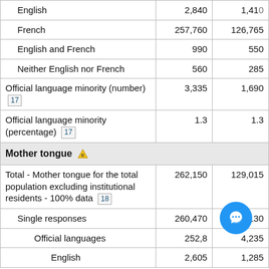|  | Col1 | Col2 |
| --- | --- | --- |
| English | 2,840 | 1,410 |
| French | 257,760 | 126,765 |
| English and French | 990 | 550 |
| Neither English nor French | 560 | 285 |
| Official language minority (number) [17] | 3,335 | 1,690 |
| Official language minority (percentage) [17] | 1.3 | 1.3 |
| Mother tongue ⚠ |  |  |
| Total - Mother tongue for the total population excluding institutional residents - 100% data [18] | 262,150 | 129,015 |
| Single responses | 260,470 | 128,130 |
| Official languages | 252,8__ | 4,235 |
| English | 2,605 | 1,285 |